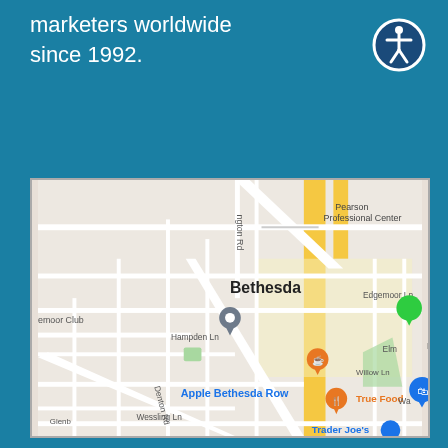marketers worldwide since 1992.
[Figure (other): Accessibility icon - circular blue border with white figure/person symbol]
[Figure (map): Google Maps screenshot showing Bethesda, MD area with landmarks including Pearson Professional Center, Tatte Bakery & Cafe, Apple Bethesda Row, True Food, Trader Joe's, Edgemoor Club, Edgemoor Ln, Hampden Ln, Denton Rd, Elm St, Willow Ln, Wessling Ln, Leland St, and various streets]